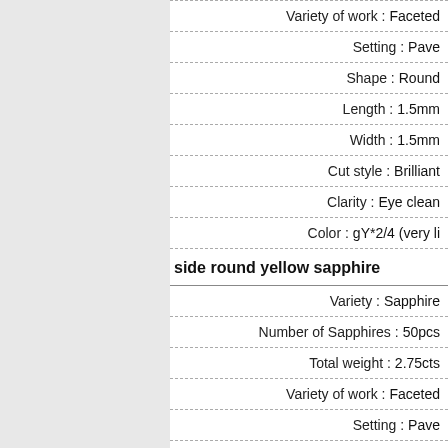| Property | Value |
| --- | --- |
| Variety of work | Faceted |
| Setting | Pave |
| Shape | Round |
| Length | 1.5mm |
| Width | 1.5mm |
| Cut style | Brilliant |
| Clarity | Eye clean |
| Color | gY*2/4 (very li |
side round yellow sapphire
| Property | Value |
| --- | --- |
| Variety | Sapphire |
| Number of Sapphires | 50pcs |
| Total weight | 2.75cts |
| Variety of work | Faceted |
| Setting | Pave |